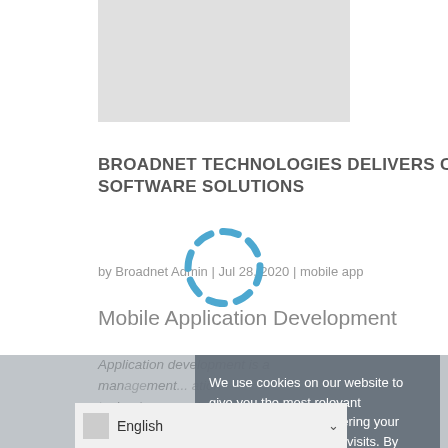[Figure (photo): Gray placeholder hero image at top of page]
BROADNET TECHNOLOGIES DELIVERS CUSTOMIZED APPLICATION DEVELOPMENT AND SOFTWARE SOLUTIONS
by Broadnet Admin | Jul 28, 2020 | mobile app
[Figure (other): Dashed circular loading spinner graphic]
Mobile Application Development
Application development is a management ... information technology ... and purpose of every app ...
We use cookies on our website to give you the most relevant experience by remembering your preferences and repeat visits. By clicking "Accept", you consent to the use of ALL the cookies.
ACCEPT
English